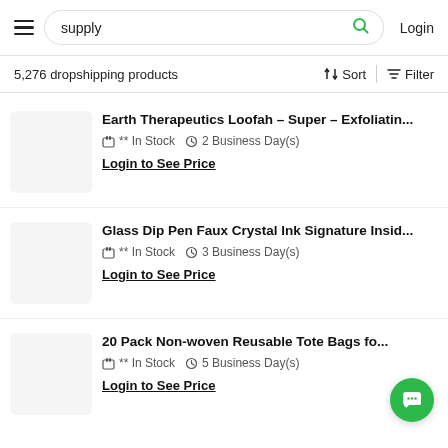supply | Login
5,276 dropshipping products
Earth Therapeutics Loofah - Super - Exfoliatin... ** In Stock  2 Business Day(s)  Login to See Price
Glass Dip Pen Faux Crystal Ink Signature Insid... ** In Stock  3 Business Day(s)  Login to See Price
20 Pack Non-woven Reusable Tote Bags fo... ** In Stock  5 Business Day(s)  Login to See Price